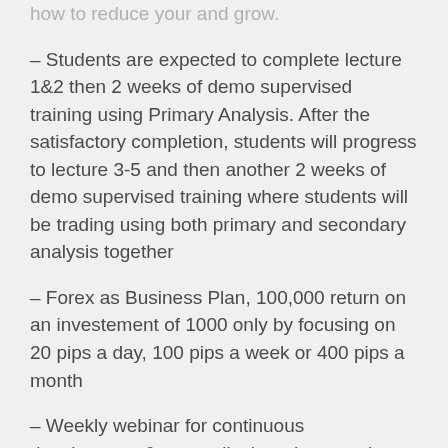how to reduce your and grow.
– Students are expected to complete lecture 1&2 then 2 weeks of demo supervised training using Primary Analysis. After the satisfactory completion, students will progress to lecture 3-5 and then another 2 weeks of demo supervised training where students will be trading using both primary and secondary analysis together
– Forex as Business Plan, 100,000 return on an investement of 1000 only by focusing on 20 pips a day, 100 pips a week or 400 pips a month
– Weekly webinar for continuous development & prep-talks in order to make an assessment of students progress